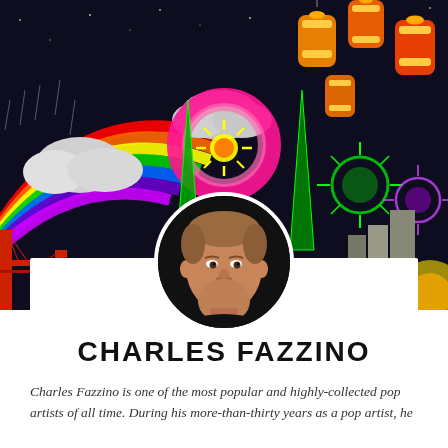[Figure (illustration): Colorful pop art background painting by Charles Fazzino featuring a rainbow, fireworks, lanterns, clouds, and city skylines on a dark night sky background.]
[Figure (photo): Circular cropped portrait photo of Charles Fazzino, a middle-aged man with light brown hair wearing a black shirt, smiling slightly against a dark background.]
CHARLES FAZZINO
Charles Fazzino is one of the most popular and highly-collected pop artists of all time. During his more-than-thirty years as a pop artist, he